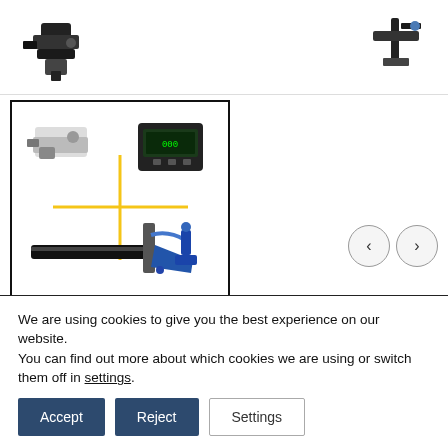[Figure (photo): Product images shown in top strip - black pump component on left, dark tool/clamp on right]
[Figure (photo): Selected product thumbnail showing pump kit components: electric pump, digital meter, pipe, and blue dispensing nozzle arranged with yellow cross pattern]
Pump Kit for Dispensing DEF/AdBlue®
( There are no reviews yet. )
We are using cookies to give you the best experience on our website.
You can find out more about which cookies we are using or switch them off in settings.